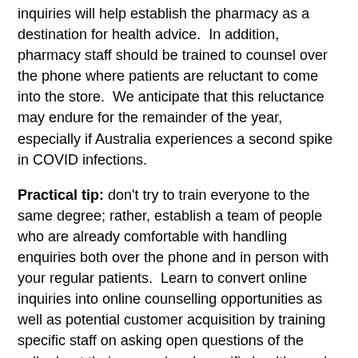inquiries will help establish the pharmacy as a destination for health advice.  In addition, pharmacy staff should be trained to counsel over the phone where patients are reluctant to come into the store.  We anticipate that this reluctance may endure for the remainder of the year, especially if Australia experiences a second spike in COVID infections.
Practical tip: don't try to train everyone to the same degree; rather, establish a team of people who are already comfortable with handling enquiries both over the phone and in person with your regular patients.  Learn to convert online inquiries into online counselling opportunities as well as potential customer acquisition by training specific staff on asking open questions of the caller bout their general and specific health needs.
Local marketing and positioning